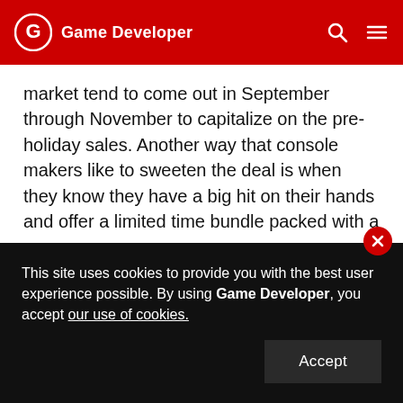Game Developer
market tend to come out in September through November to capitalize on the pre-holiday sales. Another way that console makers like to sweeten the deal is when they know they have a big hit on their hands and offer a limited time bundle packed with a new game.
We see this yearly with the Call of Duty editions of a Microsoft console. These bundles have different rules compared to the other ones. The allure of these is twofold: One is you're getting the game that you want with the purchase of the hardware so that you're killing two birds
This site uses cookies to provide you with the best user experience possible. By using Game Developer, you accept our use of cookies.